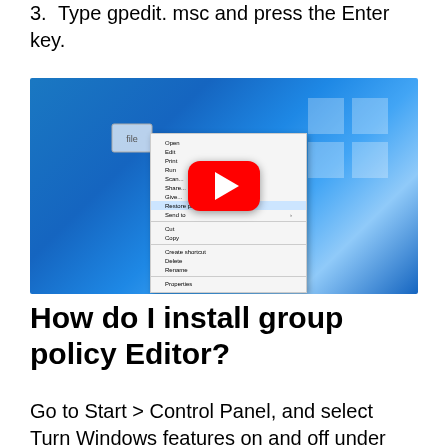3. Type gpedit. msc and press the Enter key.
[Figure (screenshot): A YouTube video thumbnail showing a Windows 10 desktop with a right-click context menu open over a file icon, and a YouTube play button overlay in the center.]
How do I install group policy Editor?
Go to Start > Control Panel, and select Turn Windows features on and off under